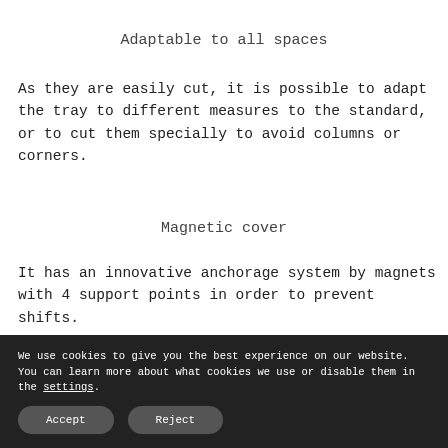Adaptable to all spaces
As they are easily cut, it is possible to adapt the tray to different measures to the standard, or to cut them specially to avoid columns or corners.
Magnetic cover
It has an innovative anchorage system by magnets with 4 support points in order to prevent shifts.
We use cookies to give you the best experience on our website. You can learn more about what cookies we use or disable them in the settings.